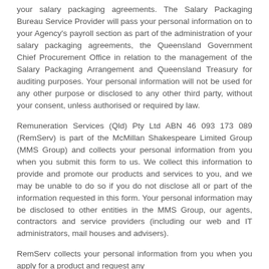your salary packaging agreements. The Salary Packaging Bureau Service Provider will pass your personal information on to your Agency's payroll section as part of the administration of your salary packaging agreements, the Queensland Government Chief Procurement Office in relation to the management of the Salary Packaging Arrangement and Queensland Treasury for auditing purposes. Your personal information will not be used for any other purpose or disclosed to any other third party, without your consent, unless authorised or required by law.
Remuneration Services (Qld) Pty Ltd ABN 46 093 173 089 (RemServ) is part of the McMillan Shakespeare Limited Group (MMS Group) and collects your personal information from you when you submit this form to us. We collect this information to provide and promote our products and services to you, and we may be unable to do so if you do not disclose all or part of the information requested in this form. Your personal information may be disclosed to other entities in the MMS Group, our agents, contractors and service providers (including our web and IT administrators, mail houses and advisers).
RemServ collects your personal information from you when you apply for a product and request any